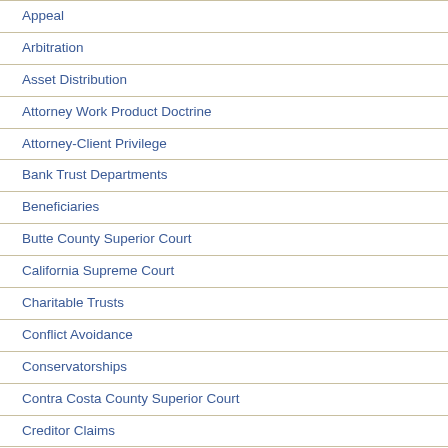Appeal
Arbitration
Asset Distribution
Attorney Work Product Doctrine
Attorney-Client Privilege
Bank Trust Departments
Beneficiaries
Butte County Superior Court
California Supreme Court
Charitable Trusts
Conflict Avoidance
Conservatorships
Contra Costa County Superior Court
Creditor Claims